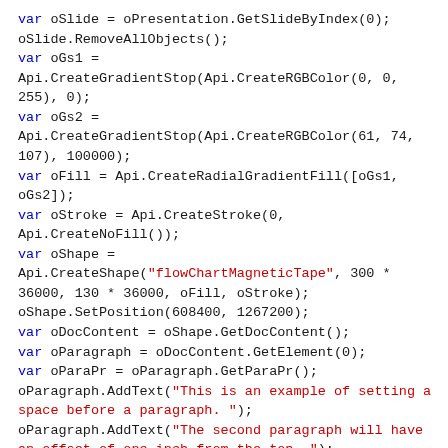var oSlide = oPresentation.GetSlideByIndex(0);
oSlide.RemoveAllObjects();
var oGs1 =
Api.CreateGradientStop(Api.CreateRGBColor(0, 0,
255), 0);
var oGs2 =
Api.CreateGradientStop(Api.CreateRGBColor(61, 74,
107), 100000);
var oFill = Api.CreateRadialGradientFill([oGs1,
oGs2]);
var oStroke = Api.CreateStroke(0,
Api.CreateNoFill());
var oShape =
Api.CreateShape("flowChartMagneticTape", 300 *
36000, 130 * 36000, oFill, oStroke);
oShape.SetPosition(608400, 1267200);
var oDocContent = oShape.GetDocContent();
var oParagraph = oDocContent.GetElement(0);
var oParaPr = oParagraph.GetParaPr();
oParagraph.AddText("This is an example of setting a space before a paragraph. ");
oParagraph.AddText("The second paragraph will have an offset of one inch from the top. ");
oParagraph.AddText("This is due to the fact that the second paragraph has this offset enabled.");